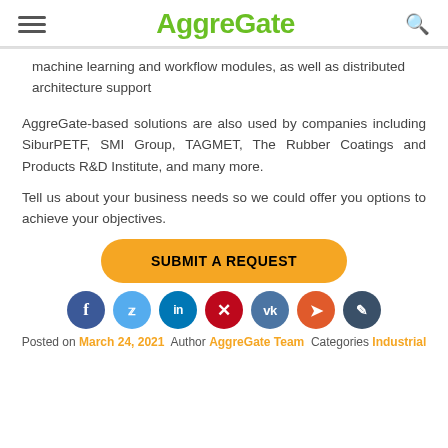AggreGate
machine learning and workflow modules, as well as distributed architecture support
AggreGate-based solutions are also used by companies including SiburPETF, SMI Group, TAGMET, The Rubber Coatings and Products R&D Institute, and many more.
Tell us about your business needs so we could offer you options to achieve your objectives.
[Figure (other): Orange rounded button labeled SUBMIT A REQUEST]
[Figure (other): Row of social media sharing icons: Facebook, Twitter, LinkedIn, Pinterest, VK, Telegram, Edit]
Posted on March 24, 2021  Author AggreGate Team  Categories Industrial